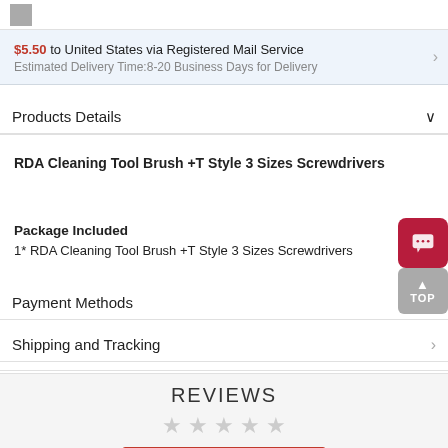[Figure (other): Small grey image thumbnail in top-left corner]
$5.50 to United States via Registered Mail Service
Estimated Delivery Time:8-20 Business Days for Delivery
Products Details
RDA Cleaning Tool Brush +T Style 3 Sizes Screwdrivers
Package Included
1* RDA Cleaning Tool Brush +T Style 3 Sizes Screwdrivers
Payment Methods
Shipping and Tracking
REVIEWS
[Figure (other): Five empty star rating icons]
WRITE A REVIEW